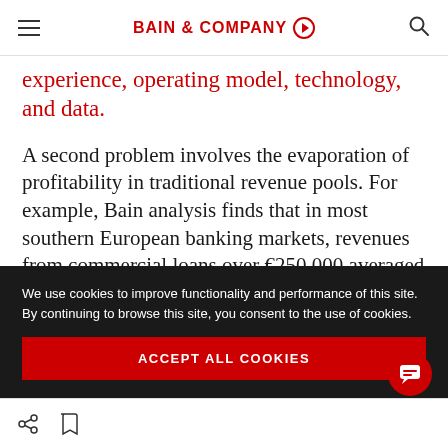BAIN & COMPANY
experience, operating model, technology, and data.
A second problem involves the evaporation of profitability in traditional revenue pools. For example, Bain analysis finds that in most southern European banking markets, revenues from commercial loans over €250,000 averaged
We use cookies to improve functionality and performance of this site. By continuing to browse this site, you consent to the use of cookies.
ACCEPT ALL COOKIES